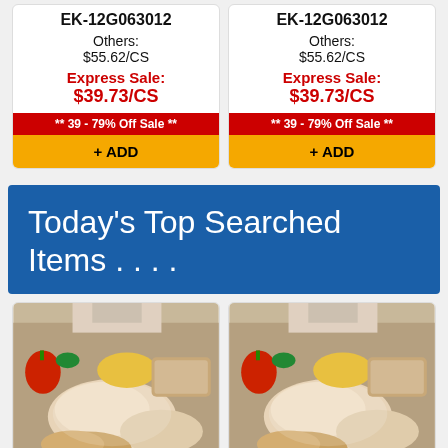EK-12G063012
Others: $55.62/CS Express Sale: $39.73/CS
** 39 - 79% Off Sale **
+ ADD
EK-12G063012
Others: $55.62/CS Express Sale: $39.73/CS
** 39 - 79% Off Sale **
+ ADD
Today's Top Searched Items . . . .
[Figure (photo): Food items including poultry/chicken breast and other groceries on a cutting board]
[Figure (photo): Food items including poultry/chicken breast and other groceries on a cutting board]